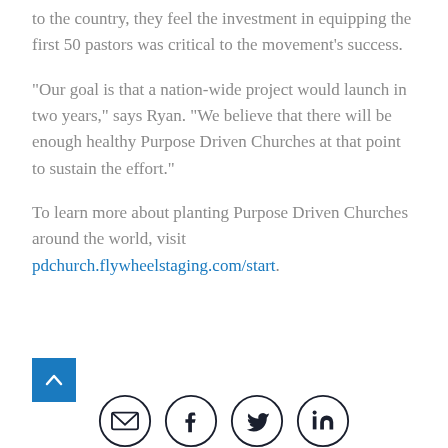to the country, they feel the investment in equipping the first 50 pastors was critical to the movement's success.
“Our goal is that a nation-wide project would launch in two years,” says Ryan. “We believe that there will be enough healthy Purpose Driven Churches at that point to sustain the effort.”
To learn more about planting Purpose Driven Churches around the world, visit pdchurch.flywheelstaging.com/start.
[Figure (infographic): Blue back-to-top arrow button and social media icons (email, Facebook, Twitter, LinkedIn) at the bottom of the page]